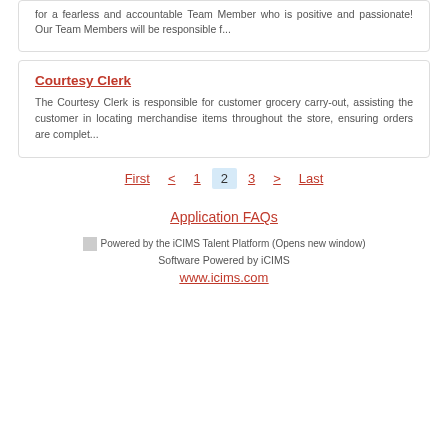for a fearless and accountable Team Member who is positive and passionate! Our Team Members will be responsible f...
Courtesy Clerk
The Courtesy Clerk is responsible for customer grocery carry-out, assisting the customer in locating merchandise items throughout the store, ensuring orders are complet...
First  <  1  2  3  >  Last
Application FAQs
Powered by the iCIMS Talent Platform (Opens new window)
Software Powered by iCIMS
www.icims.com